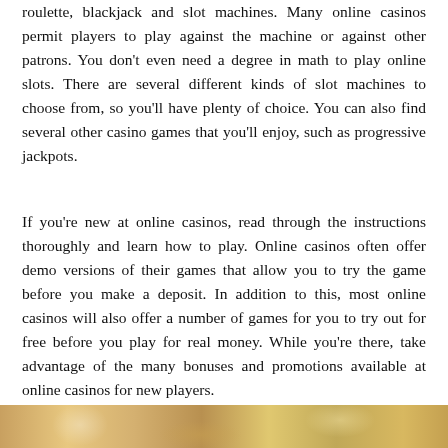roulette, blackjack and slot machines. Many online casinos permit players to play against the machine or against other patrons. You don't even need a degree in math to play online slots. There are several different kinds of slot machines to choose from, so you'll have plenty of choice. You can also find several other casino games that you'll enjoy, such as progressive jackpots.
If you're new at online casinos, read through the instructions thoroughly and learn how to play. Online casinos often offer demo versions of their games that allow you to try the game before you make a deposit. In addition to this, most online casinos will also offer a number of games for you to try out for free before you play for real money. While you're there, take advantage of the many bonuses and promotions available at online casinos for new players.
[Figure (photo): Bottom strip showing colorful currency notes, partially visible at the bottom of the page]